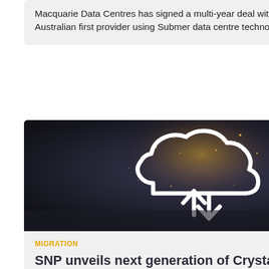Macquarie Data Centres has signed a multi-year deal with ResetData, an Australian first provider using Submer data centre technology.
[Figure (photo): Hands holding a glowing cloud icon with upload and download arrows, representing cloud data migration technology against a dark background.]
MIGRATION
SNP unveils next generation of CrystalBridge software platform
Data is a key pillar of every customer-centric organisation, as it relies on